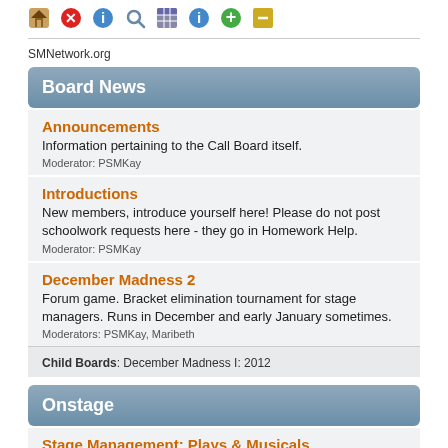[Figure (screenshot): Row of colorful navigation icons at the top of the page]
SMNetwork.org
Board News
Announcements
Information pertaining to the Call Board itself.
Moderator: PSMKay
Introductions
New members, introduce yourself here! Please do not post schoolwork requests here - they go in Homework Help.
Moderator: PSMKay
December Madness 2
Forum game. Bracket elimination tournament for stage managers. Runs in December and early January sometimes.
Moderators: PSMKay, Maribeth
Child Boards: December Madness I: 2012
Onstage
Stage Management: Plays & Musicals
Stage management of theatrical venues.
Moderator: Maribeth